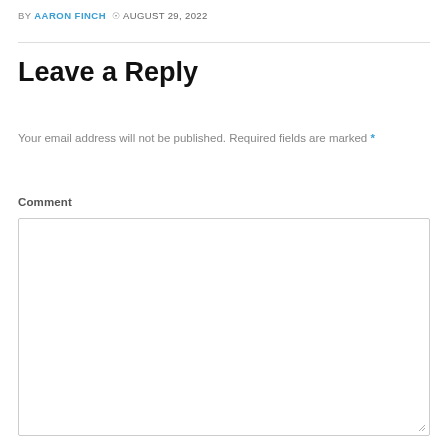BY AARON FINCH  © AUGUST 29, 2022
Leave a Reply
Your email address will not be published. Required fields are marked *
Comment
[Figure (other): Empty comment text area input box]